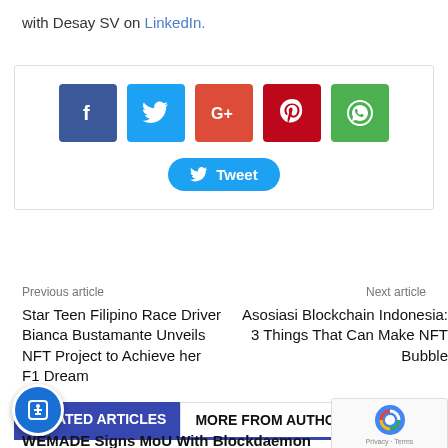with Desay SV on LinkedIn.
[Figure (other): Social share buttons: Facebook, Twitter, Google+, Pinterest, WhatsApp icons, and a Tweet button]
Previous article
Next article
Star Teen Filipino Race Driver Bianca Bustamante Unveils NFT Project to Achieve her F1 Dream
Asosiasi Blockchain Indonesia: 3 Things That Can Make NFT Bubble
RELATED ARTICLES   MORE FROM AUTHOR
WEMADE Signs MoU With Blockdaemon